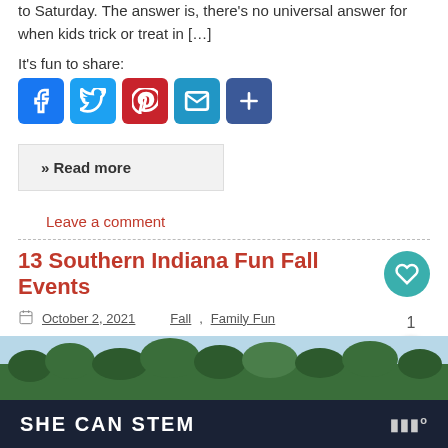to Saturday. The answer is, there's no universal answer for when kids trick or treat in […]
It's fun to share:
[Figure (infographic): Social sharing icons: Facebook (blue), Twitter (light blue), Pinterest (red), Email (blue), Share/Plus (dark blue)]
» Read more
Leave a comment
13 Southern Indiana Fun Fall Events
October 2, 2021   Fall, Family Fun
[Figure (photo): Landscape photo with green trees and sky, partially visible at bottom of page]
SHE CAN STEM